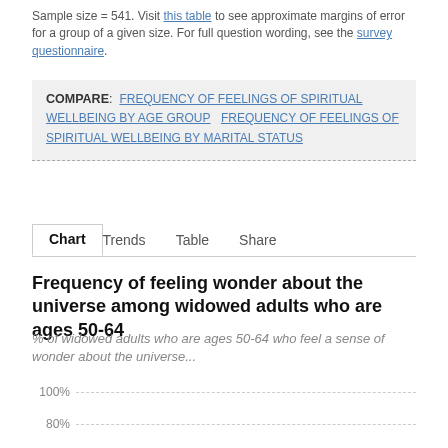Sample size = 541. Visit this table to see approximate margins of error for a group of a given size. For full question wording, see the survey questionnaire.
COMPARE: FREQUENCY OF FEELINGS OF SPIRITUAL WELLBEING BY AGE GROUP  FREQUENCY OF FEELINGS OF SPIRITUAL WELLBEING BY MARITAL STATUS
Chart  Trends  Table  Share
Frequency of feeling wonder about the universe among widowed adults who are ages 50-64
% of widowed adults who are ages 50-64 who feel a sense of wonder about the universe...
[Figure (continuous-plot): Partial bar chart showing percentage gridlines at 100% and 80% with dashed horizontal lines. Chart data not fully visible.]